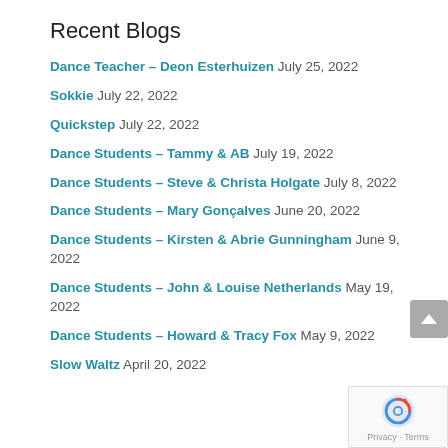Recent Blogs
Dance Teacher – Deon Esterhuizen July 25, 2022
Sokkie July 22, 2022
Quickstep July 22, 2022
Dance Students – Tammy & AB July 19, 2022
Dance Students – Steve & Christa Holgate July 8, 2022
Dance Students – Mary Gonçalves June 20, 2022
Dance Students – Kirsten & Abrie Gunningham June 9, 2022
Dance Students – John & Louise Netherlands May 19, 2022
Dance Students – Howard & Tracy Fox May 9, 2022
Slow Waltz April 20, 2022